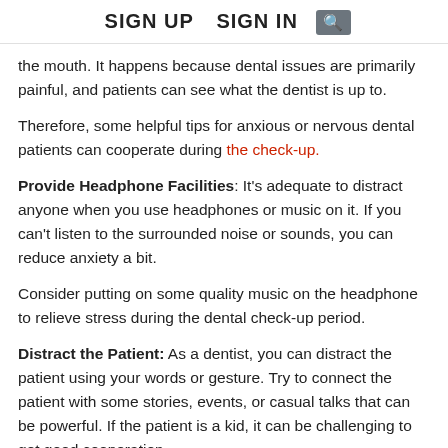SIGN UP   SIGN IN  [search icon]
the mouth. It happens because dental issues are primarily painful, and patients can see what the dentist is up to.
Therefore, some helpful tips for anxious or nervous dental patients can cooperate during the check-up.
Provide Headphone Facilities: It's adequate to distract anyone when you use headphones or music on it. If you can't listen to the surrounded noise or sounds, you can reduce anxiety a bit.
Consider putting on some quality music on the headphone to relieve stress during the dental check-up period.
Distract the Patient: As a dentist, you can distract the patient using your words or gesture. Try to connect the patient with some stories, events, or casual talks that can be powerful. If the patient is a kid, it can be challenging to get good cooperation.
In that case, tell a story or ask about his/her likings/disliking, try to grab the concentration from dental check-up to regular conversation type. By this time, you can have the treatment without any interruption.
Counseling: It's the best solution to talk to the nervous patient